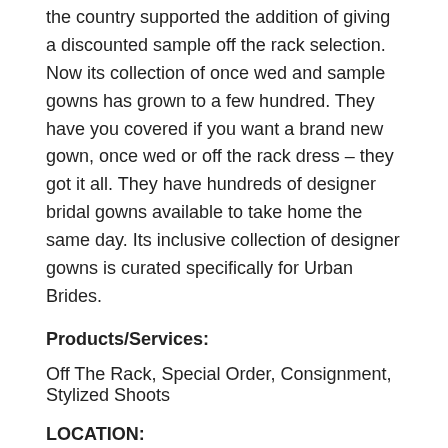the country supported the addition of giving a discounted sample off the rack selection. Now its collection of once wed and sample gowns has grown to a few hundred. They have you covered if you want a brand new gown, once wed or off the rack dress – they got it all. They have hundreds of designer bridal gowns available to take home the same day. Its inclusive collection of designer gowns is curated specifically for Urban Brides.
Products/Services:
Off The Rack, Special Order, Consignment, Stylized Shoots
LOCATION:
Address: 8712 48 Ave NW #206, Edmonton, AB T6E 5L1
Phone: 780-686-8559